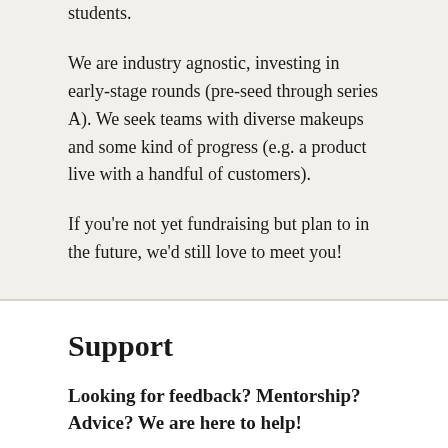students.
We are industry agnostic, investing in early-stage rounds (pre-seed through series A). We seek teams with diverse makeups and some kind of progress (e.g. a product live with a handful of customers).
If you’re not yet fundraising but plan to in the future, we’d still love to meet you!
Support
Looking for feedback? Mentorship? Advice? We are here to help!
SSC Venture Partners maintains a mentor